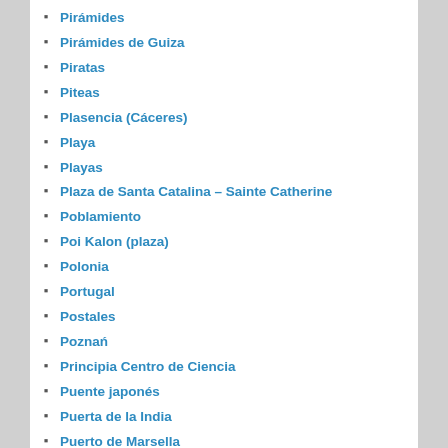Pirámides
Pirámides de Guiza
Piratas
Piteas
Plasencia (Cáceres)
Playa
Playas
Plaza de Santa Catalina – Sainte Catherine
Poblamiento
Poi Kalon (plaza)
Polonia
Portugal
Postales
Poznań
Principia Centro de Ciencia
Puente japonés
Puerta de la India
Puerto de Marsella
Puerto Vallarta
Puesta de Sol
Punta da Piedade